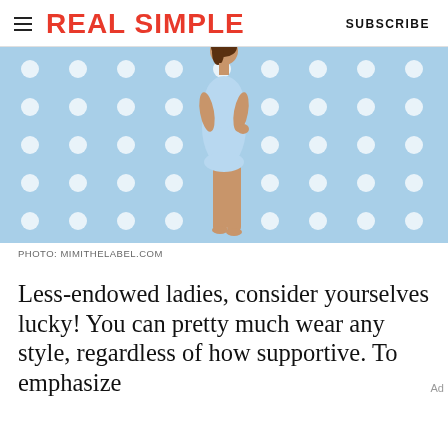REAL SIMPLE  SUBSCRIBE
[Figure (photo): Woman in light blue one-piece swimsuit standing against a light blue polka dot background]
PHOTO: MIMITHELABEL.COM
Less-endowed ladies, consider yourselves lucky! You can pretty much wear any style, regardless of how supportive. To emphasize